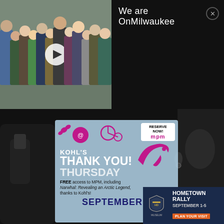[Figure (photo): Group photo of approximately 12 people standing together, with a video play button overlay]
We are OnMilwaukee
[Figure (infographic): MPM (Milwaukee Public Museum) Kohl's Thank You! Thursday event advertisement. RESERVE NOW! badge in top right. Pink illustrated icons including butterflies, a circle, a penny-farthing bicycle, and a T-rex. Text reads: KOHL'S THANK YOU! THURSDAY. FREE access to MPM, including Narwhal: Revealing an Arctic Legend, thanks to Kohl's! SEPTEMBER 1]
[Figure (infographic): Harley-Davidson Museum Hometown Rally advertisement showing HD shield logo, HOMETOWN RALLY text, SEPTEMBER 1-5 dates, and PLAN YOUR VISIT button]
[Figure (photo): Dark background photo showing a hand holding a microphone on the left and a person's face/ear silhouette on the right]